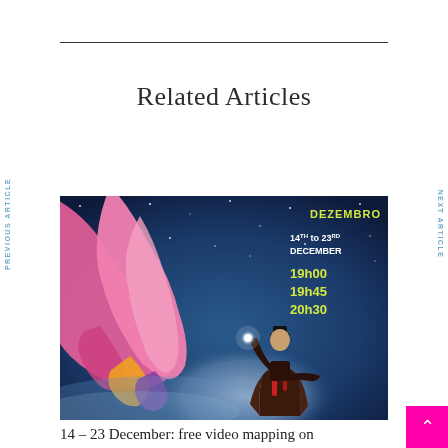Related Articles
[Figure (illustration): Promotional poster for a December video mapping event showing a fantastical pink creature flying over a figure with a glowing orb against a night sky, with text: DEZEMBRO, 14TH to 23RD DECEMBER, 19h00 19h45 20h30]
14 – 23 December: free video mapping on